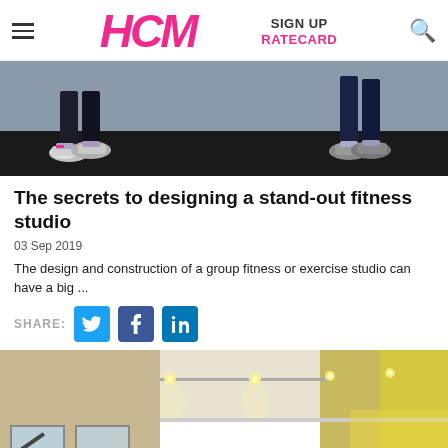HCM | SIGN UP | RATECARD
[Figure (photo): Two people standing apart in a fitness studio, only their feet and sneakers visible against a dark floor and grey wall]
The secrets to designing a stand-out fitness studio
03 Sep 2019
The design and construction of a group fitness or exercise studio can have a big ...
SHARE:
[Figure (photo): Interior of a fitness studio with white ceiling, track lighting with warm spots, large windows, and exercise equipment visible]